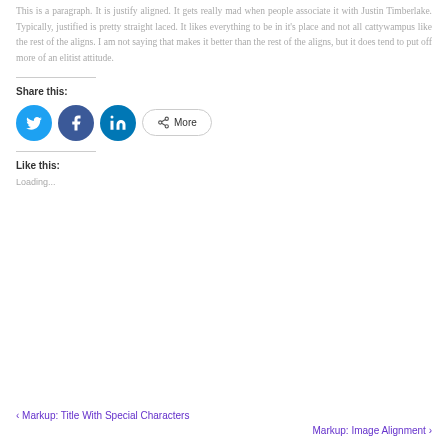This is a paragraph. It is justify aligned. It gets really mad when people associate it with Justin Timberlake. Typically, justified is pretty straight laced. It likes everything to be in it's place and not all cattywampus like the rest of the aligns. I am not saying that makes it better than the rest of the aligns, but it does tend to put off more of an elitist attitude.
Share this:
[Figure (other): Social share buttons: Twitter (blue circle), Facebook (blue circle), LinkedIn (blue circle), and a More button with share icon]
Like this:
Loading...
< Markup: Title With Special Characters
Markup: Image Alignment >